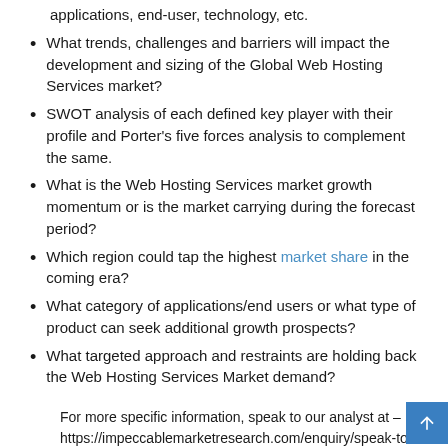applications, end-user, technology, etc.
What trends, challenges and barriers will impact the development and sizing of the Global Web Hosting Services market?
SWOT analysis of each defined key player with their profile and Porter's five forces analysis to complement the same.
What is the Web Hosting Services market growth momentum or is the market carrying during the forecast period?
Which region could tap the highest market share in the coming era?
What category of applications/end users or what type of product can seek additional growth prospects?
What targeted approach and restraints are holding back the Web Hosting Services Market demand?
For more specific information, speak to our analyst at – https://impeccablemarketresearch.com/enquiry/speak-to-